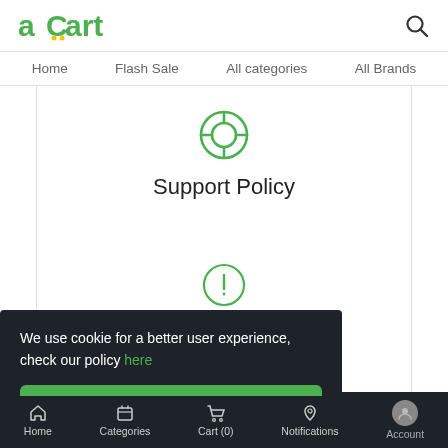aCart
Home   Flash Sale   All categories   All Brands
Support Policy
[Figure (illustration): Green lifesaver/support icon (circle with inner ring and cross)]
[Figure (illustration): Green circle with exclamation mark icon]
We use cookie for a better user experience, check our policy here
Ok. I Understood
Home   Categories   Cart (0)   Notifications   Account